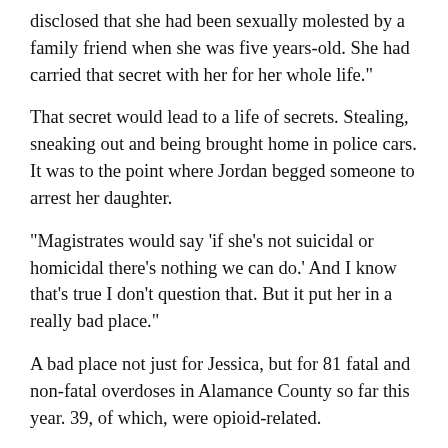disclosed that she had been sexually molested by a family friend when she was five years-old. She had carried that secret with her for her whole life."
That secret would lead to a life of secrets. Stealing, sneaking out and being brought home in police cars. It was to the point where Jordan begged someone to arrest her daughter.
"Magistrates would say 'if she's not suicidal or homicidal there's nothing we can do.' And I know that's true I don't question that. But it put her in a really bad place."
A bad place not just for Jessica, but for 81 fatal and non-fatal overdoses in Alamance County so far this year. 39, of which, were opioid-related.
Sergeant Chris Crain of the Alamance County Sheriff Office's Street Crimes Division is working to map out